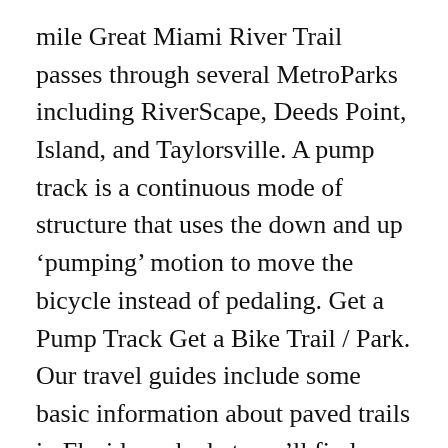mile Great Miami River Trail passes through several MetroParks including RiverScape, Deeds Point, Island, and Taylorsville. A pump track is a continuous mode of structure that uses the down and up ‘pumping’ motion to move the bicycle instead of pedaling. Get a Pump Track Get a Bike Trail / Park. Our travel guides include some basic information about paved trails in Florida and what you’ll find near them. Velosolutions, the world leader in paved pump track design and construction, has installed a 15,000 square foot asphalt track featuring seamless paved waves. we are hoping to get some support with our project so we can grow and get something more Professional like this in... Learn More. In August 2019